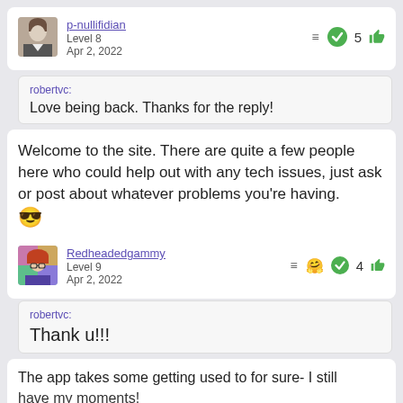p-nullifidian
Level 8
Apr 2, 2022
≡  5 👍
robertvc: Love being back. Thanks for the reply!
Welcome to the site. There are quite a few people here who could help out with any tech issues, just ask or post about whatever problems you're having. 😎
Redheadedgammy
Level 9
Apr 2, 2022
≡  4 👍
robertvc: Thank u!!!
The app takes some getting used to for sure- I still have my moments!